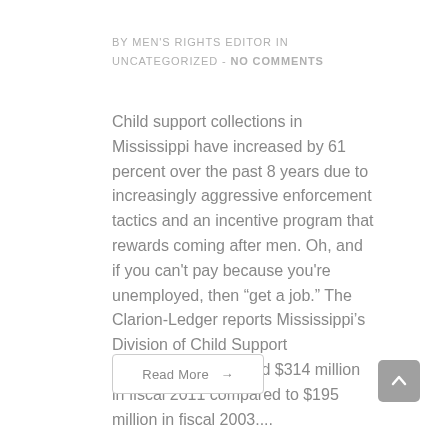BY MEN'S RIGHTS EDITOR IN UNCATEGORIZED - NO COMMENTS
Child support collections in Mississippi have increased by 61 percent over the past 8 years due to increasingly aggressive enforcement tactics and an incentive program that rewards coming after men. Oh, and if you can't pay because you're unemployed, then “get a job.” The Clarion-Ledger reports Mississippi's Division of Child Support Enforcement collected $314 million in fiscal 2011 compared to $195 million in fiscal 2003....
Read More →